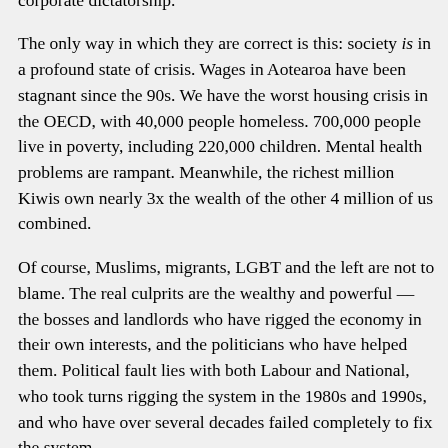establish an ethnically, culturally and religiously “pure” corporate dictatorship.
The only way in which they are correct is this: society is in a profound state of crisis. Wages in Aotearoa have been stagnant since the 90s. We have the worst housing crisis in the OECD, with 40,000 people homeless. 700,000 people live in poverty, including 220,000 children. Mental health problems are rampant. Meanwhile, the richest million Kiwis own nearly 3x the wealth of the other 4 million of us combined.
Of course, Muslims, migrants, LGBT and the left are not to blame. The real culprits are the wealthy and powerful — the bosses and landlords who have rigged the economy in their own interests, and the politicians who have helped them. Political fault lies with both Labour and National, who took turns rigging the system in the 1980s and 1990s, and who have over several decades failed completely to fix the system.